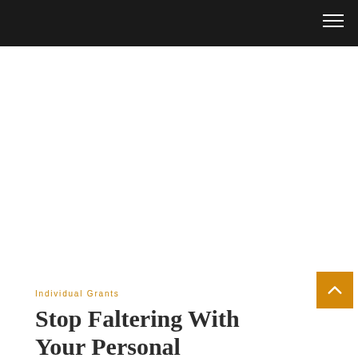Individual Grants
Stop Faltering With Your Personal